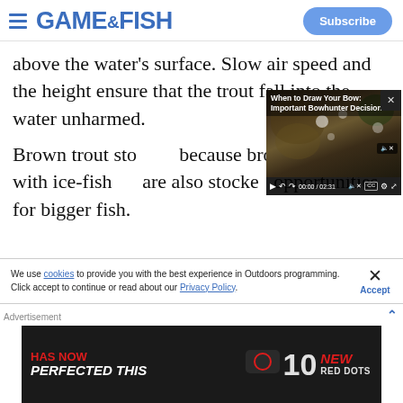GAME & FISH | Subscribe
above the water's surface. Slow air speed and the height ensure that the trout fall into the water unharmed.
[Figure (screenshot): Video player overlay showing 'When to Draw Your Bow: Important Bowhunter Decision' with a bowhunter in camouflage drawing a bow. Duration 02:31.]
Brown trout sto... because browns... fall with ice-fish... are also stocke... opportunities for bigger fish.
We use cookies to provide you with the best experience in Outdoors programming. Click accept to continue or read about our Privacy Policy.
[Figure (screenshot): Advertisement banner with dark background reading 'HAS NOW PERFECTED THIS' on the left, a scope/red dot sight image in the center, and '10 NEW RED DOTS' on the right in red and white text.]